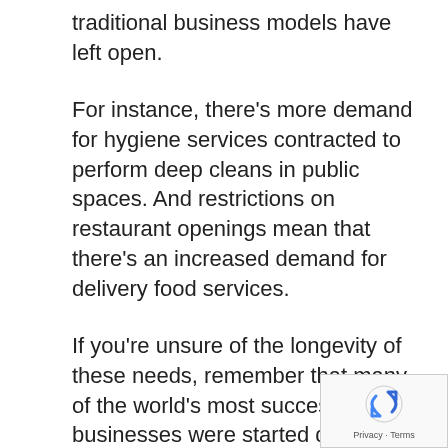traditional business models have left open.
For instance, there’s more demand for hygiene services contracted to perform deep cleans in public spaces. And restrictions on restaurant openings mean that there’s an increased demand for delivery food services.
If you’re unsure of the longevity of these needs, remember that many of the world’s most successful businesses were started during recessions and crises. For example, IBM and Disney launched just before the Great Depression.
Tech giants Amazon, Google, and also Salesforce grew out of the dot-com bubble. Achieving business success during uncertain times is possible and the adversity may even boost your business growth.
What are the challenges of starting a